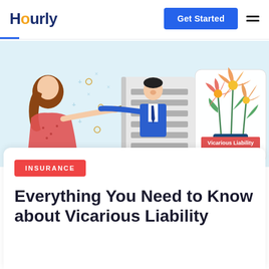Hourly
[Figure (illustration): Illustration showing a woman in a red dress handing something to a man in a blue suit through a window, with decorative elements. On the right side, a card showing flowers in a dark blue pot labeled 'Vicarious Liability'.]
INSURANCE
Everything You Need to Know about Vicarious Liability